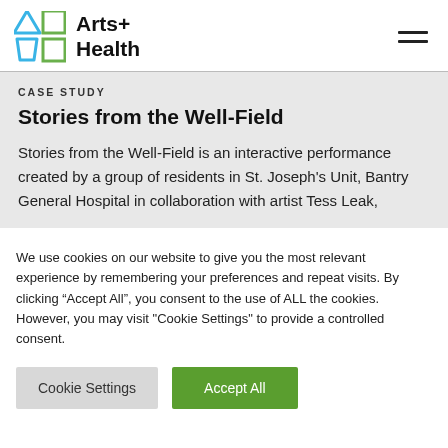Arts+ Health
CASE STUDY
Stories from the Well-Field
Stories from the Well-Field is an interactive performance created by a group of residents in St. Joseph's Unit, Bantry General Hospital in collaboration with artist Tess Leak,
We use cookies on our website to give you the most relevant experience by remembering your preferences and repeat visits. By clicking “Accept All”, you consent to the use of ALL the cookies. However, you may visit "Cookie Settings" to provide a controlled consent.